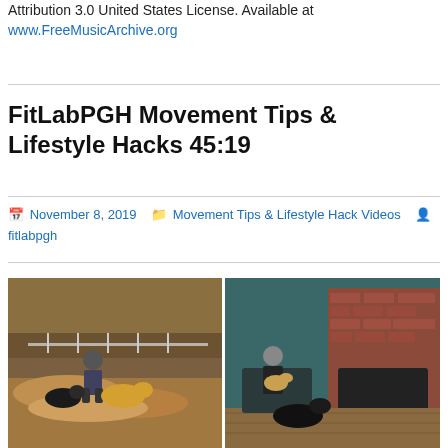Attribution 3.0 United States License. Available at www.FreeMusicArchive.org
FitLabPGH Movement Tips & Lifestyle Hacks 45:19
November 8, 2019   Movement Tips & Lifestyle Hack Videos   fitlabpgh
[Figure (photo): Two-panel photo collage: left panel shows a man crouching outdoors in autumn leaves with two dogs; right panel shows a man sitting indoors by a brick fireplace holding a small dog with a black dog beside him.]